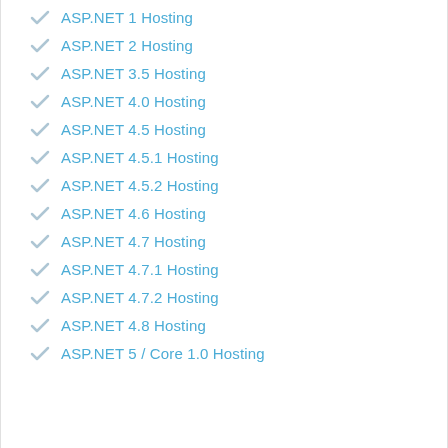ASP.NET 1 Hosting
ASP.NET 2 Hosting
ASP.NET 3.5 Hosting
ASP.NET 4.0 Hosting
ASP.NET 4.5 Hosting
ASP.NET 4.5.1 Hosting
ASP.NET 4.5.2 Hosting
ASP.NET 4.6 Hosting
ASP.NET 4.7 Hosting
ASP.NET 4.7.1 Hosting
ASP.NET 4.7.2 Hosting
ASP.NET 4.8 Hosting
ASP.NET 5 / Core 1.0 Hosting